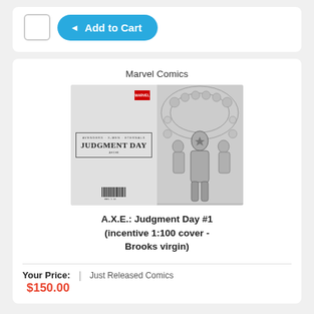[Figure (other): Add to Cart button with checkbox, blue pill-shaped button with left-pointing triangle and text 'Add to Cart']
Marvel Comics
[Figure (photo): Comic book cover for A.X.E.: Judgment Day #1 - left half shows gray cover with 'JUDGMENT DAY' title text in ornate frame and Marvel logo, right half shows black and white detailed illustration of Captain America and many Marvel heroes]
A.X.E.: Judgment Day #1 (incentive 1:100 cover - Brooks virgin)
Your Price: | Just Released Comics
$150.00